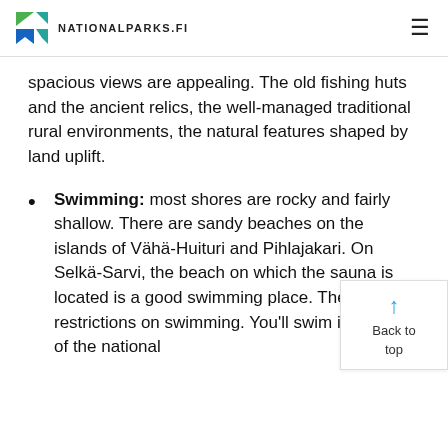NATIONALPARKS.FI
spacious views are appealing. The old fishing huts and the ancient relics, the well-managed traditional rural environments, the natural features shaped by land uplift.
Swimming: most shores are rocky and fairly shallow. There are sandy beaches on the islands of Vähä-Huituri and Pihlajakari. On Selkä-Sarvi, the beach on which the sauna is located is a good swimming place. There are no restrictions on swimming. You'll swim in waters of the national